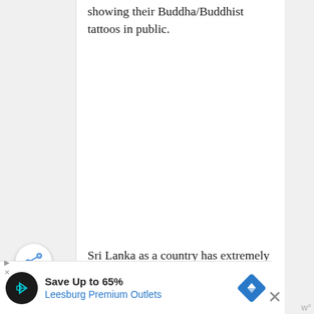showing their Buddha/Buddhist tattoos in public.
Sri Lanka as a country has extremely strong Buddhist beliefs, and as such, the government is very sensitive
[Figure (other): Share button - circular white button with share icon (blue arrows)]
[Figure (other): Advertisement banner: Save Up to 65% Leesburg Premium Outlets, with black circular logo and blue diamond navigation icon. Close (X) button on right.]